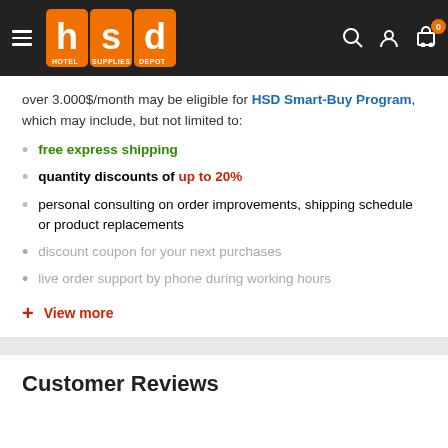[Figure (logo): HSD Hotel Supplies Depot logo with hamburger menu, search, account, and cart icons in dark header bar]
over 3.000$/month may be eligible for HSD Smart-Buy Program, which may include, but not limited to:
free express shipping
quantity discounts of up to 20%
personal consulting on order improvements, shipping schedule or product replacements
discount coupon for your next purchases
live order support by phone during working hours
+ View more
Customer Reviews